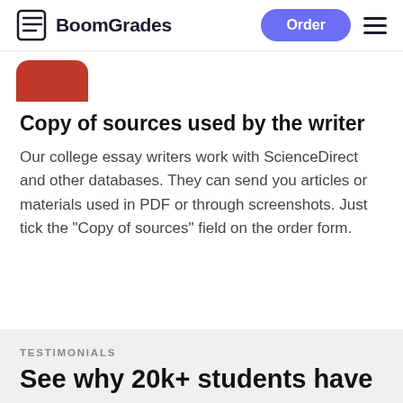BoomGrades | Order
[Figure (logo): BoomGrades logo with document icon and text, Order button, and hamburger menu]
[Figure (illustration): Red rounded rectangle icon/badge partially visible at top of content area]
Copy of sources used by the writer
Our college essay writers work with ScienceDirect and other databases. They can send you articles or materials used in PDF or through screenshots. Just tick the "Copy of sources" field on the order form.
TESTIMONIALS
See why 20k+ students have